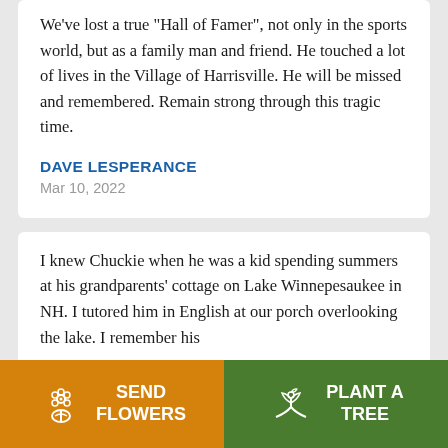We've lost a true "Hall of Famer", not only in the sports world, but as a family man and friend. He touched a lot of lives in the Village of Harrisville. He will be missed and remembered. Remain strong through this tragic time.
DAVE LESPERANCE
Mar 10, 2022
I knew Chuckie when he was a kid spending summers at his grandparents' cottage on Lake Winnepesaukee in NH. I tutored him in English at our porch overlooking the lake. I remember his
[Figure (illustration): Orange button with flower bouquet icon and text SEND FLOWERS]
[Figure (illustration): Green button with plant/tree icon and text PLANT A TREE]